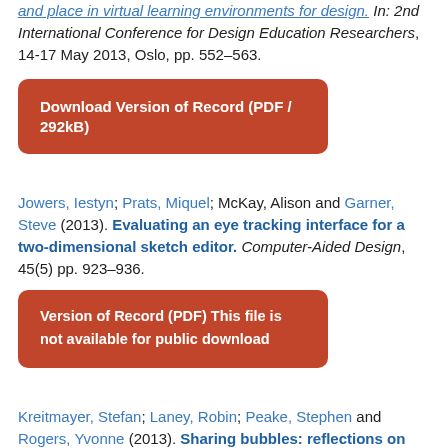and place in virtual learning environments for design. In: 2nd International Conference for Design Education Researchers, 14-17 May 2013, Oslo, pp. 552–563.
Download Version of Record (PDF / 292kB)
Jowers, Iestyn; Prats, Miquel; McKay, Alison and Garner, Steve (2013). Evaluating an eye tracking interface for a two-dimensional sketch editor. Computer-Aided Design, 45(5) pp. 923–936.
Version of Record (PDF) This file is not available for public download
Kreitmayer, Stefan; Laney, Robin; Peake, Stephen and Rogers, Yvonne (2013). Sharing bubbles: reflections on offline multi-